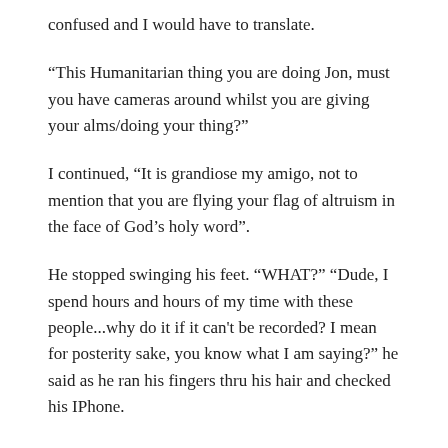confused and I would have to translate.
“This Humanitarian thing you are doing Jon, must you have cameras around whilst you are giving your alms/doing your thing?”
I continued, “It is grandiose my amigo, not to mention that you are flying your flag of altruism in the face of God’s holy word”.
He stopped swinging his feet. “WHAT?” “Dude, I spend hours and hours of my time with these people...why do it if it can’t be recorded? I mean for posterity sake, you know what I am saying?” he said as he ran his fingers thru his hair and checked his IPhone.